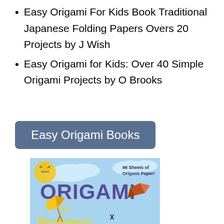Easy Origami For Kids Book Traditional Japanese Folding Papers Overs 20 Projects by J Wish
Easy Origami for Kids: Over 40 Simple Origami Projects by O Brooks
[Figure (other): Button/link labeled 'Easy Origami Books' with dark blue-grey rounded rectangle background]
[Figure (photo): Book cover image for 'Origami for Beginners' showing colorful origami figures on a light blue background, with text '96 Sheets of Origami Paper!' and Dover Publications logo]
x